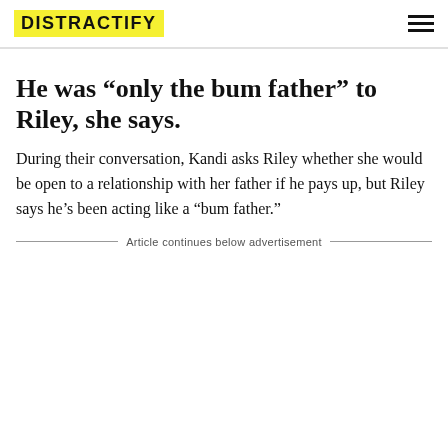DISTRACTIFY
He was “only the bum father” to Riley, she says.
During their conversation, Kandi asks Riley whether she would be open to a relationship with her father if he pays up, but Riley says he’s been acting like a “bum father.”
Article continues below advertisement